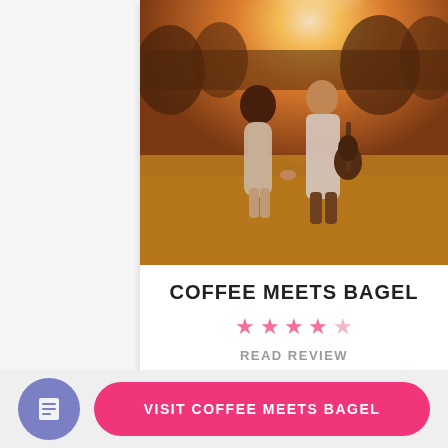[Figure (photo): Romantic couple holding hands in a golden sunlit field, man carrying a guitar on his back, warm sunset light in background]
COFFEE MEETS BAGEL
★★★★☆
READ REVIEW
VISIT SITE
93%
VISIT COFFEE MEETS BAGEL